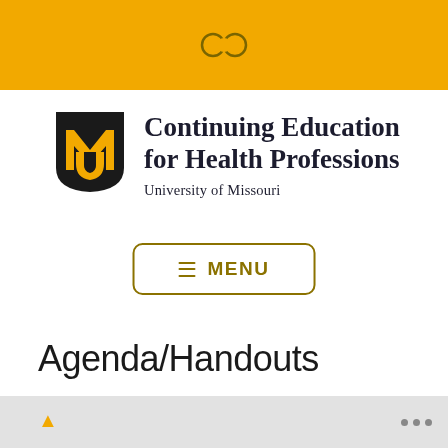[Figure (logo): University of Missouri MU shield logo with gold and black colors]
Continuing Education for Health Professions
University of Missouri
[Figure (screenshot): Navigation menu button with hamburger icon and MENU label, gold border on white background]
Agenda/Handouts
[Figure (screenshot): Partial bottom bar with three dots navigation indicator]